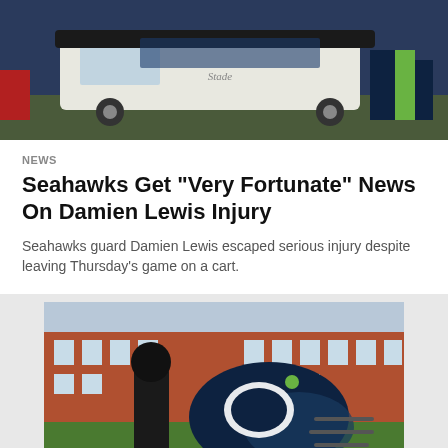[Figure (photo): A golf cart on a football field sideline with players in Seahawks uniforms visible in the background]
NEWS
Seahawks Get "Very Fortunate" News On Damien Lewis Injury
Seahawks guard Damien Lewis escaped serious injury despite leaving Thursday's game on a cart.
[Figure (photo): A Seattle Seahawks football helmet sitting on grass next to a massage gun device, with a brick building in the background]
[Figure (infographic): Social sharing icons: Facebook, Twitter, Email, Link]